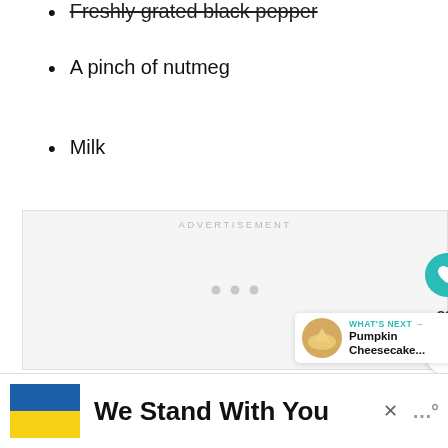Freshly grated black pepper
A pinch of nutmeg
Milk
[Figure (other): Advertisement placeholder box with 'ADVERTISEMENT' label and three loading dots, with heart/like button showing 89 likes, share button, and 'What's Next: Pumpkin Cheesecake...' panel]
[Figure (other): Bottom banner: Ukrainian flag colors (blue and yellow) with text 'We Stand With You' and a close button]